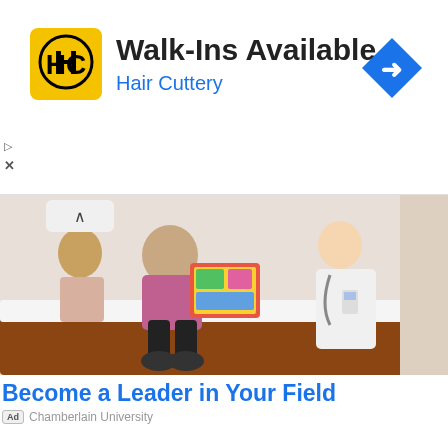[Figure (screenshot): Hair Cuttery advertisement banner with yellow HC logo, title 'Walk-Ins Available', subtitle 'Hair Cuttery' in blue, and blue navigation arrow icon on right]
[Figure (photo): Medical scene showing a child sitting on an exam table reading a colorful book, with a doctor in white coat standing nearby]
Become a Leader in Your Field
Ad   Chamberlain University